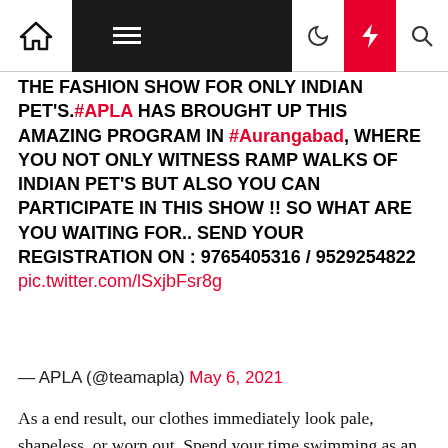Navigation bar with home, menu, dark mode, lightning, and search icons
THE FASHION SHOW FOR ONLY INDIAN PET'S.#APLA HAS BROUGHT UP THIS AMAZING PROGRAM IN #Aurangabad, WHERE YOU NOT ONLY WITNESS RAMP WALKS OF INDIAN PET'S BUT ALSO YOU CAN PARTICIPATE IN THIS SHOW !! SO WHAT ARE YOU WAITING FOR.. SEND YOUR REGISTRATION ON : 9765405316 / 9529254822 pic.twitter.com/lSxjbFsr8g
— APLA (@teamapla) May 6, 2021
As a end result, our clothes immediately look pale, shapeless, or worn out. Spend your time swimming as an alternative of adjusting your bathing suit top. Bendy Redefines Eco-FashionProducts just like the Bendy show that eco-fashion could be extra than just an costly ideal. Now, you'll be able to choose